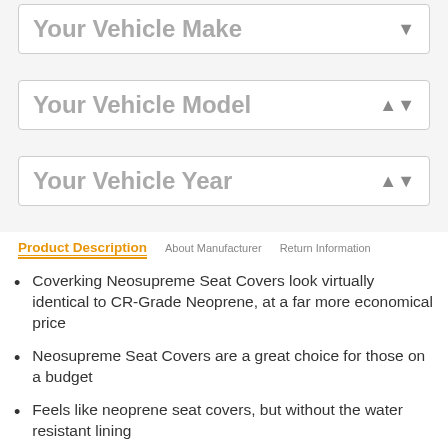Your Vehicle Make
Your Vehicle Model
Your Vehicle Year
Product Description   About Manufacturer   Return Information
Coverking Neosupreme Seat Covers look virtually identical to CR-Grade Neoprene, at a far more economical price
Neosupreme Seat Covers are a great choice for those on a budget
Feels like neoprene seat covers, but without the water resistant lining
Easy to install and maintain
Coverking Neosupreme Car Seat Covers are custom-made to perfectly fit your year, make, and model vehicle
Available with several insert colors (black outer panels)